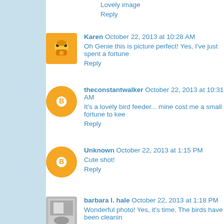Lovely image
Reply
Karen  October 22, 2013 at 10:28 AM
Oh Genie this is picture perfect! Yes, I've just spent a fortune...
Reply
theconstantwalker  October 22, 2013 at 10:31 AM
It's a lovely bird feeder... mine cost me a small fortune to kee...
Reply
Unknown  October 22, 2013 at 1:15 PM
Cute shot!
Reply
barbara l. hale  October 22, 2013 at 1:18 PM
Wonderful photo! Yes, it's time. The birds have been cleanin... protein.